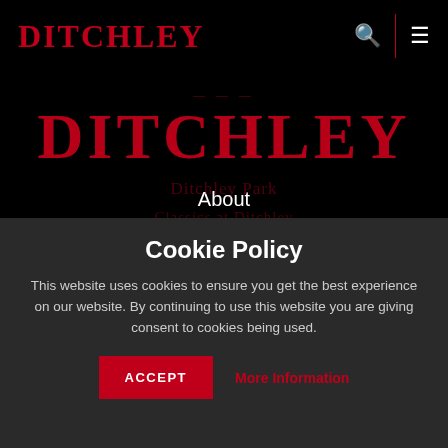DITCHLEY
DITCHLEY
About
Programme
People
Cookie Policy
This website uses cookies to ensure you get the best experience on our website. By continuing to use this website you are giving consent to cookies being used.
ACCEPT
More Information